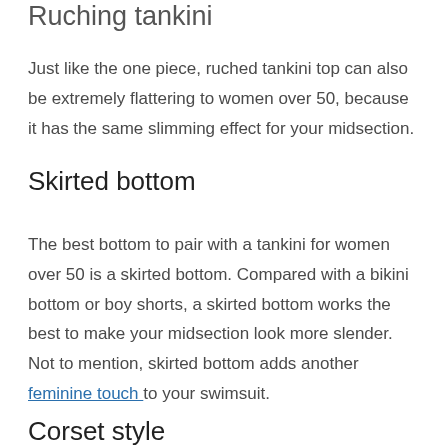Ruching tankini
Just like the one piece, ruched tankini top can also be extremely flattering to women over 50, because it has the same slimming effect for your midsection.
Skirted bottom
The best bottom to pair with a tankini for women over 50 is a skirted bottom. Compared with a bikini bottom or boy shorts, a skirted bottom works the best to make your midsection look more slender. Not to mention, skirted bottom adds another feminine touch to your swimsuit.
Corset style